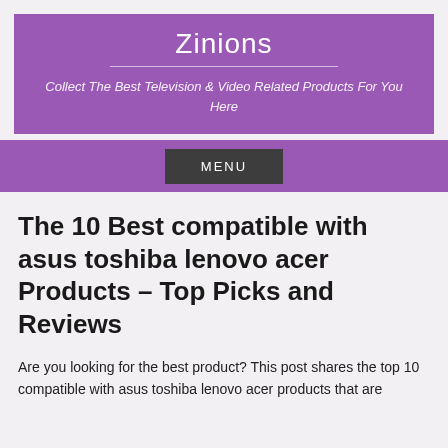Zinions
Collect The Best Television & Video Related Products For You Here
MENU
The 10 Best compatible with asus toshiba lenovo acer Products – Top Picks and Reviews
Are you looking for the best product? This post shares the top 10 compatible with asus toshiba lenovo acer products that are